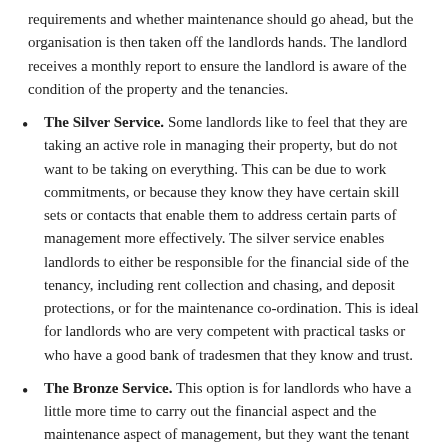requirements and whether maintenance should go ahead, but the organisation is then taken off the landlords hands. The landlord receives a monthly report to ensure the landlord is aware of the condition of the property and the tenancies.
The Silver Service. Some landlords like to feel that they are taking an active role in managing their property, but do not want to be taking on everything. This can be due to work commitments, or because they know they have certain skill sets or contacts that enable them to address certain parts of management more effectively. The silver service enables landlords to either be responsible for the financial side of the tenancy, including rent collection and chasing, and deposit protections, or for the maintenance co-ordination. This is ideal for landlords who are very competent with practical tasks or who have a good bank of tradesmen that they know and trust.
The Bronze Service. This option is for landlords who have a little more time to carry out the financial aspect and the maintenance aspect of management, but they want the tenant relationships and legalities of contracts safely taken care of by someone else. With regulations changing frequently and